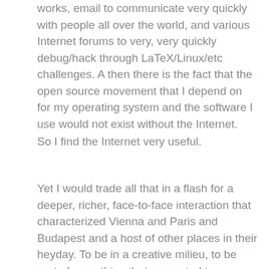works, email to communicate very quickly with people all over the world, and various Internet forums to very, very quickly debug/hack through LaTeX/Linux/etc challenges. A then there is the fact that the open source movement that I depend on for my operating system and the software I use would not exist without the Internet.
So I find the Internet very useful.
Yet I would trade all that in a flash for a deeper, richer, face-to-face interaction that characterized Vienna and Paris and Budapest and a host of other places in their heyday. To be in a creative milieu, to be part of something that supported true diversity (very little to do with race, creed, sex, etc!), to find freedom in close quarters with deep empathetic